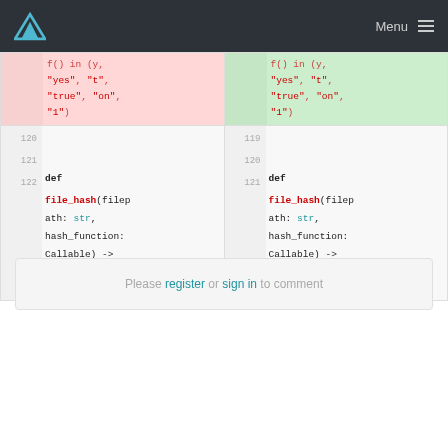Menu
[Figure (screenshot): Code diff view showing two panels side by side. Left panel shows removed lines (pink background), right panel shows added lines (green background). Both panels show a Python function definition 'def file_hash(filepath: str, hash_function: Callable) -> str:' with line numbers. The top portion shows removed/added string literal lines including 'f() in (y,', '"yes", "t",', '"true", "on",', '"1"'. Line numbers shown on both sides.]
Please register or sign in to comment